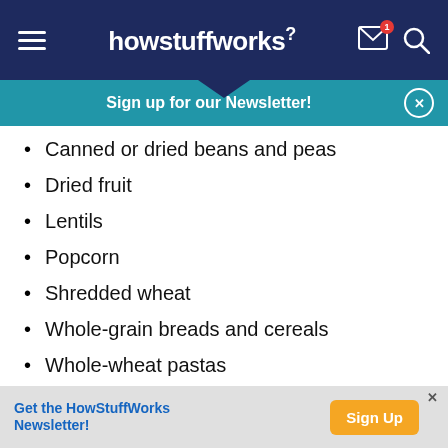howstuffworks
Sign up for our Newsletter!
Canned or dried beans and peas
Dried fruit
Lentils
Popcorn
Shredded wheat
Whole-grain breads and cereals
Whole-wheat pastas
Fiber
Get the HowStuffWorks Newsletter!  Sign Up